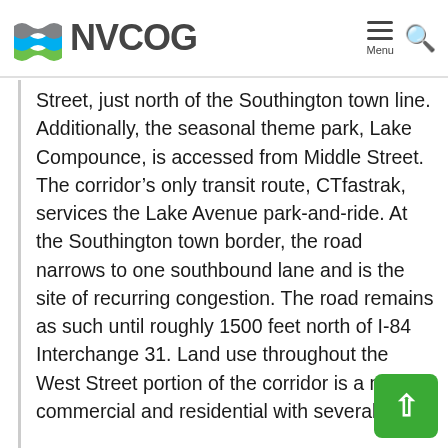NVCOG
Street, just north of the Southington town line. Additionally, the seasonal theme park, Lake Compounce, is accessed from Middle Street. The corridor's only transit route, CTfastrak, services the Lake Avenue park-and-ride. At the Southington town border, the road narrows to one southbound lane and is the site of recurring congestion. The road remains as such until roughly 1500 feet north of I-84 Interchange 31. Land use throughout the West Street portion of the corridor is a mix commercial and residential with several